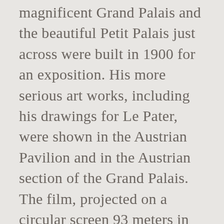magnificent Grand Palais and the beautiful Petit Palais just across were built in 1900 for an exposition. His more serious art works, including his drawings for Le Pater, were shown in the Austrian Pavilion and in the Austrian section of the Grand Palais. The film, projected on a circular screen 93 meters in circumference by ten synchronized projectors, depicted a landscape passing below. Other diversions elsewhere in and around the Exposition included a Venetian canal with gondolas, a Japanese tea house, a street of Cairo, an orchestra from Madagascar, a Comedy Theater, and the Columbia Theater at Port Maillot, with acts